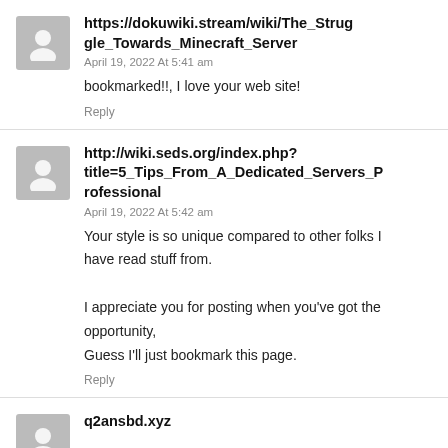https://dokuwiki.stream/wiki/The_Struggle_Towards_Minecraft_Server
April 19, 2022 At 5:41 am
bookmarked!!, I love your web site!
Reply
http://wiki.seds.org/index.php?title=5_Tips_From_A_Dedicated_Servers_Professional
April 19, 2022 At 5:42 am
Your style is so unique compared to other folks I have read stuff from.

I appreciate you for posting when you've got the opportunity,
Guess I'll just bookmark this page.
Reply
q2ansbd.xyz